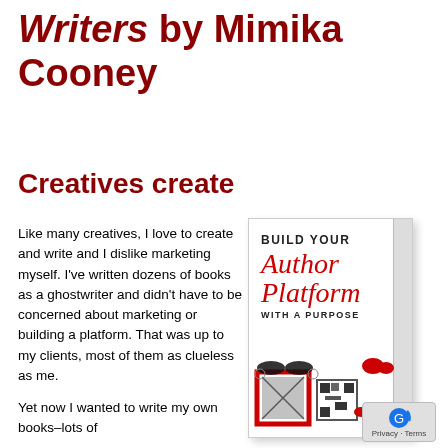Writers by Mimika Cooney
Creatives create
Like many creatives, I love to create and write and I dislike marketing myself. I've written dozens of books as a ghostwriter and didn't have to be concerned about marketing or building a platform. That was up to my clients, most of them as clueless as me.
Yet now I wanted to write my own books–lots of
[Figure (illustration): Book cover for 'Build Your Author Platform With A Purpose' by Mimika Cooney, showing script red title text on white background with decorative elements including a red-framed photo, QR code, mustache, and lips motifs.]